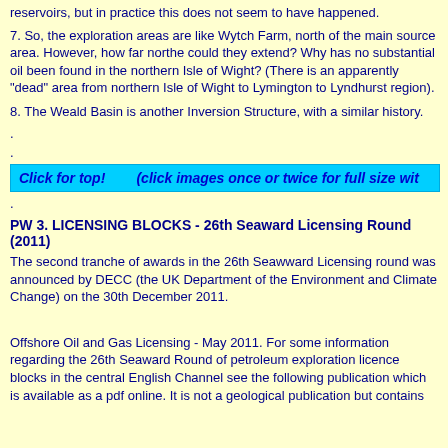reservoirs, but in practice this does not seem to have happened.
7. So, the exploration areas are like Wytch Farm, north of the main source area. However, how far northe could they extend? Why has no substantial oil been found in the northern Isle of Wight? (There is an apparently "dead" area from northern Isle of Wight to Lymington to Lyndhurst region).
8. The Weald Basin is another Inversion Structure, with a similar history.
.
.
Click for top!        (click images once or twice for full size wit
.
PW 3. LICENSING BLOCKS - 26th Seaward Licensing Round (2011)
The second tranche of awards in the 26th Seawward Licensing round was announced by DECC (the UK Department of the Environment and Climate Change) on the 30th December 2011.
Offshore Oil and Gas Licensing - May 2011. For some information regarding the 26th Seaward Round of petroleum exploration licence blocks in the central English Channel see the following publication which is available as a pdf online. It is not a geological publication but contains